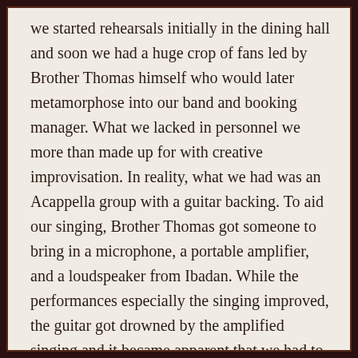we started rehearsals initially in the dining hall and soon we had a huge crop of fans led by Brother Thomas himself who would later metamorphose into our band and booking manager. What we lacked in personnel we more than made up for with creative improvisation. In reality, what we had was an Acappella group with a guitar backing. To aid our singing, Brother Thomas got someone to bring in a microphone, a portable amplifier, and a loudspeaker from Ibadan. While the performances especially the singing improved, the guitar got drowned by the amplified singing and it became apparent that we had to resolve this problem. Off we went to Brother Thomas. He thought about the challenge and came to the conclusion that we needed a pickup mic for the guitar. This he promptly got us. We had come a long way but we were still far